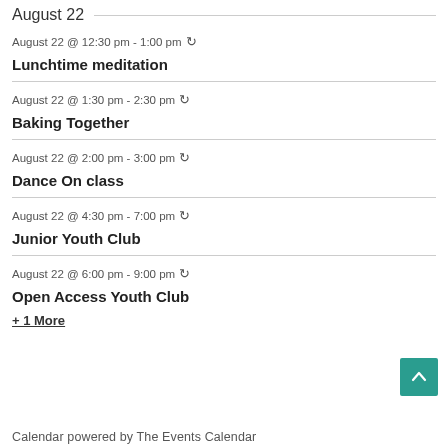August 22
August 22 @ 12:30 pm - 1:00 pm ↻
Lunchtime meditation
August 22 @ 1:30 pm - 2:30 pm ↻
Baking Together
August 22 @ 2:00 pm - 3:00 pm ↻
Dance On class
August 22 @ 4:30 pm - 7:00 pm ↻
Junior Youth Club
August 22 @ 6:00 pm - 9:00 pm ↻
Open Access Youth Club
+ 1 More
Calendar powered by The Events Calendar